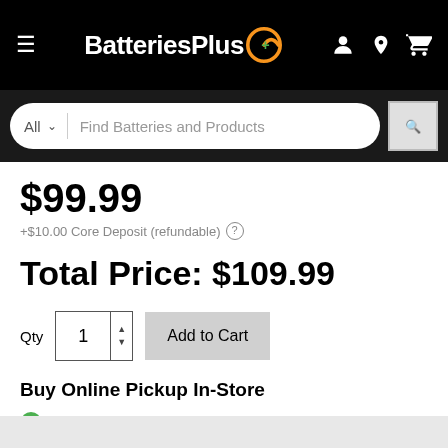[Figure (screenshot): BatteriesPlus website header with logo, hamburger menu, and icons for account, location, and cart]
[Figure (screenshot): Search bar with 'All' dropdown and 'Find Batteries and Products' placeholder text]
$99.99
+$10.00 Core Deposit (refundable)
Total Price: $109.99
Qty  1  Add to Cart
Buy Online Pickup In-Store
Limited quantity at Ashburn
Available at 3 stores nearby